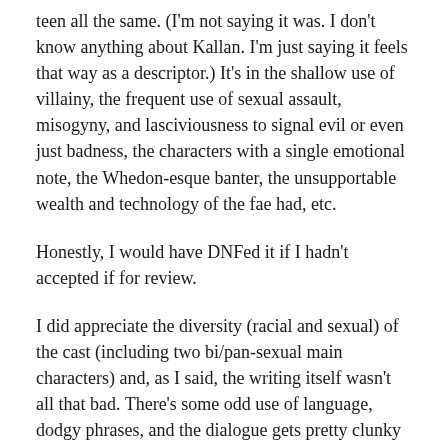teen all the same. (I'm not saying it was. I don't know anything about Kallan. I'm just saying it feels that way as a descriptor.) It's in the shallow use of villainy, the frequent use of sexual assault, misogyny, and lasciviousness to signal evil or even just badness, the characters with a single emotional note, the Whedon-esque banter, the unsupportable wealth and technology of the fae had, etc.
Honestly, I would have DNFed it if I hadn't accepted if for review.
I did appreciate the diversity (racial and sexual) of the cast (including two bi/pan-sexual main characters) and, as I said, the writing itself wasn't all that bad. There's some odd use of language, dodgy phrases, and the dialogue gets pretty clunky and stiff at times. Plus, the editing starts to flag in the last half—especially in terms of missing words, and in/on being confused. But the writing itself is readable.